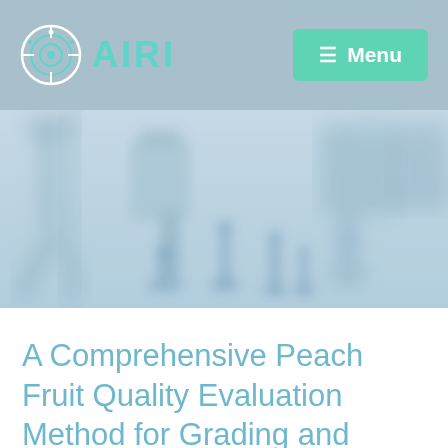AIRI
[Figure (screenshot): AIRI website header with logo (circular target icon) and green Menu button on blue-gray background]
[Figure (photo): Blurred industrial robotic assembly line machinery, blue-tinted photograph used as hero banner image]
A Comprehensive Peach Fruit Quality Evaluation Method for Grading and Consumption